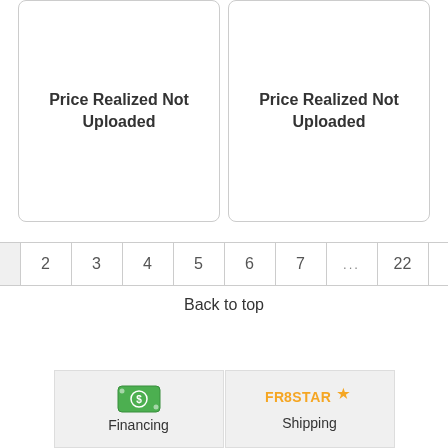[Figure (other): Card placeholder showing 'Price Realized Not Uploaded' on the left]
[Figure (other): Card placeholder showing 'Price Realized Not Uploaded' on the right]
1 2 3 4 5 6 7 ... 22 >
Back to top
[Figure (logo): Financing button with green dollar bill icon and label 'Financing']
[Figure (logo): Frestar Shipping button with orange star logo and label 'Shipping']